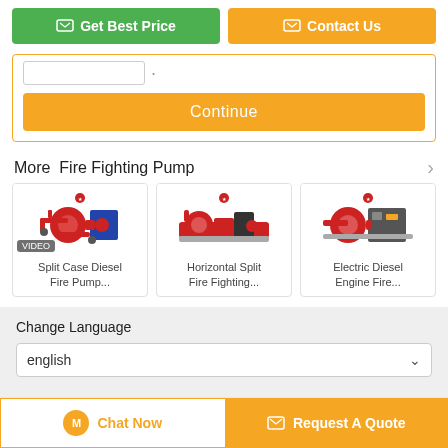[Figure (screenshot): Get Best Price button (green) and Contact Us button (orange) side by side]
[Figure (screenshot): Continue button (orange) inside an orange-bordered box with input fields above it]
More  Fire Fighting Pump
[Figure (photo): Split Case Diesel Fire Pump product image with VIDEO badge]
Split Case Diesel Fire Pump...
[Figure (photo): Horizontal Split Fire Fighting product image]
Horizontal Split Fire Fighting...
[Figure (photo): Electric Diesel Engine Fire product image]
Electric Diesel Engine Fire...
Change Language
english
[Figure (screenshot): Chat Now button and Request A Quote button at bottom of page]